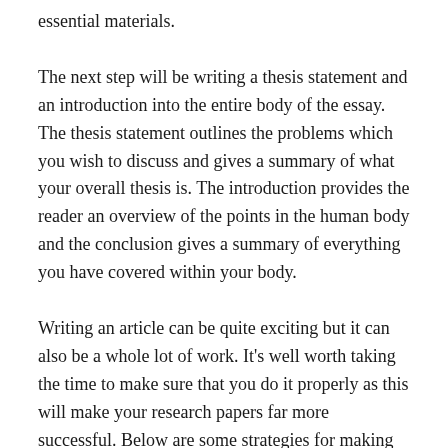essential materials.
The next step will be writing a thesis statement and an introduction into the entire body of the essay. The thesis statement outlines the problems which you wish to discuss and gives a summary of what your overall thesis is. The introduction provides the reader an overview of the points in the human body and the conclusion gives a summary of everything you have covered within your body.
Writing an article can be quite exciting but it can also be a whole lot of work. It's well worth taking the time to make sure that you do it properly as this will make your research papers far more successful. Below are some strategies for making certain you compose an